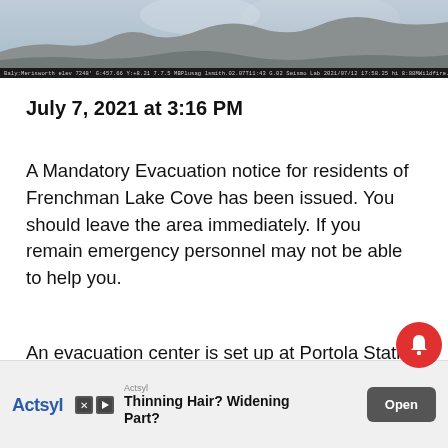[Figure (photo): Aerial or landscape photograph of a mountainous area with sky, with a dark metadata caption bar at the bottom showing camera/location data. Appears to be a wildfire monitoring camera image.]
July 7, 2021 at 3:16 PM
A Mandatory Evacuation notice for residents of Frenchman Lake Cove has been issued. You should leave the area immediately. If you remain emergency personnel may not be able to help you.
An evacuation center is set up at Portola Station 171 Gulling Street in Portola. Dixie Valley Rd residents are still under an advisory and we will
[Figure (screenshot): Advertisement banner for Actsyl - Thinning Hair? Widening Part? with Open button, X close button, and red notification bell icon overlay]